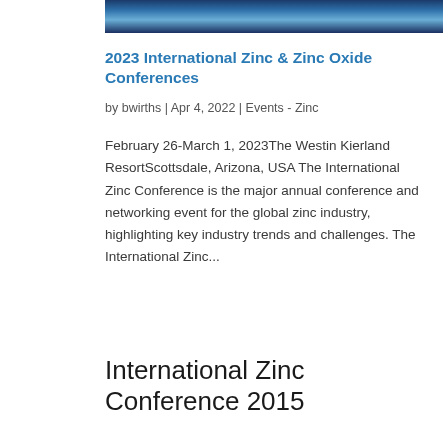[Figure (photo): Partial image strip showing a road or pathway perspective, cropped at the top of the page]
2023 International Zinc & Zinc Oxide Conferences
by bwirths | Apr 4, 2022 | Events - Zinc
February 26-March 1, 2023The Westin Kierland ResortScottsdale, Arizona, USA The International Zinc Conference is the major annual conference and networking event for the global zinc industry, highlighting key industry trends and challenges. The International Zinc...
International Zinc Conference 2015